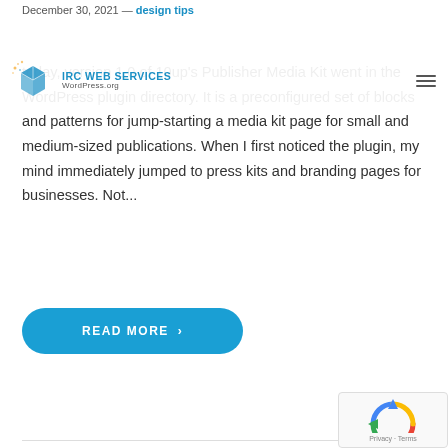December 30, 2021 — design tips
[Figure (logo): IRC Web Services logo with blue geometric cube icon and text 'IRC WEB SERVICES / WordPress.org']
today, version 1.0 of 10up's Publisher Media Kit went in the WordPress plugin directory. It is a preconfigured set of blocks and patterns for jump-starting a media kit page for small and medium-sized publications. When I first noticed the plugin, my mind immediately jumped to press kits and branding pages for businesses. Not...
READ MORE ›